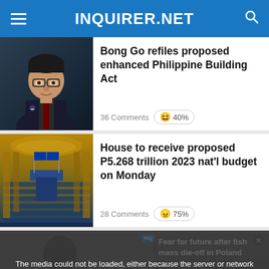INQUIRER.NET
Bong Go refiles proposed enhanced Philippine Building Act
36 Comments  😆 40%
House to receive proposed P5.268 trillion 2023 nat'l budget on Monday
28 Comments  😠 75%
[Figure (screenshot): Video player area showing 'Fear for future after fish mass die-off in Poland' with media error overlay: 'The media could not be loaded, either because the server or network failed or because the format is not supported.']